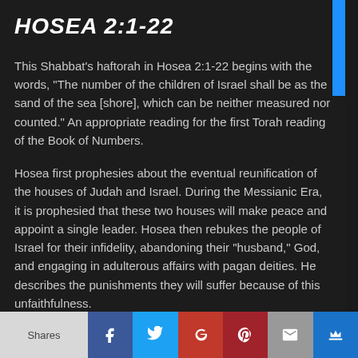HOSEA 2:1-22
This Shabbat's haftorah in Hosea 2:1-22 begins with the words, “The number of the children of Israel shall be as the sand of the sea [shore], which can be neither measured nor counted.” An appropriate reading for the first Torah reading of the Book of Numbers.
Hosea first prophesies about the eventual reunification of the houses of Judah and Israel. During the Messianic Era, it is prophesied that these two houses will make peace and appoint a single leader. Hosea then rebukes the people of Israel for their infidelity, abandoning their “husband,” God, and engaging in adulterous affairs with pagan deities. He describes the punishments they will suffer because of this unfaithfulness.